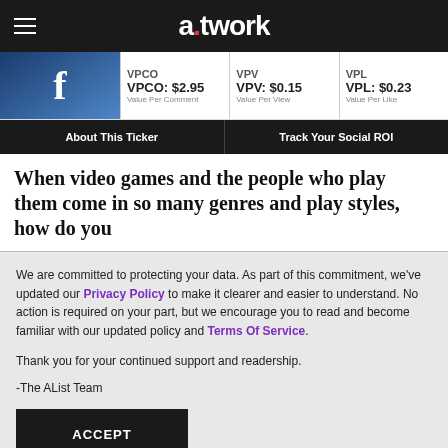a.twork
VPCO: $2.95 Value Per Comment | VPV: $0.15 Value Per View | VPL: $0.23 Value Per Like
About This Ticker | Track Your Social ROI
When video games and the people who play them come in so many genres and play styles, how do you
We are committed to protecting your data. As part of this commitment, we've updated our Privacy Policy to make it clearer and easier to understand. No action is required on your part, but we encourage you to read and become familiar with our updated policy and Terms Of Service.
Thank you for your continued support and readership.
-The AList Team